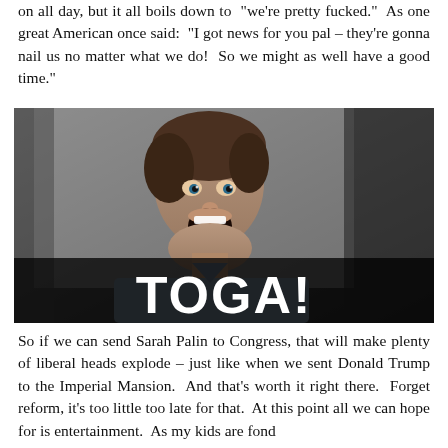on all day, but it all boils down to  we're pretty fucked.  As one great American once said:  "I got news for you pal – they're gonna nail us no matter what we do!  So we might as well have a good time."
[Figure (photo): Black and white movie still of a young man with mouth open wide, shouting, with bold white text overlay reading 'TOGA!']
So if we can send Sarah Palin to Congress, that will make plenty of liberal heads explode – just like when we sent Donald Trump to the Imperial Mansion.  And that's worth it right there.  Forget reform, it's too little too late for that.  At this point all we can hope for is entertainment.  As my kids are fond